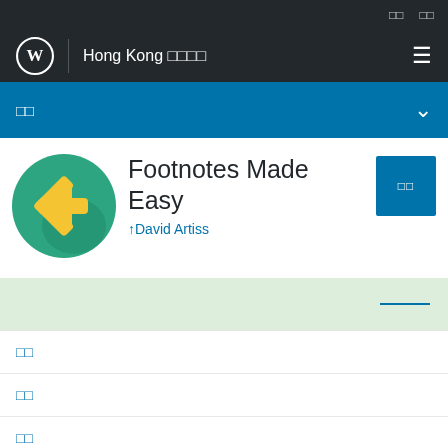□□ □□
Hong Kong □□□□
□□
Footnotes Made Easy
↑David Artiss
□□
□□
□□
□□